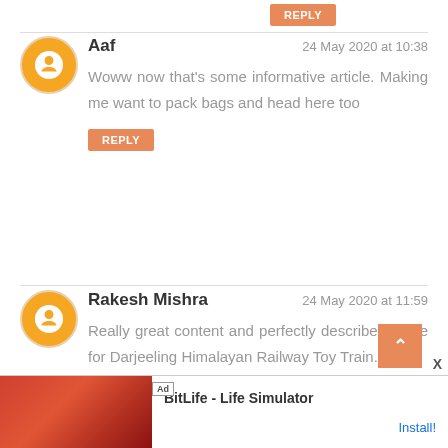REPLY
Aaf
24 May 2020 at 10:38
Woww now that's some informative article. Making me want to pack bags and head here too
REPLY
Rakesh Mishra
24 May 2020 at 11:59
Really great content and perfectly described guide for Darjeeling Himalayan Railway Toy Train.
We loved all your blog so mutch
[Figure (screenshot): BitLife - Life Simulator advertisement banner at the bottom of the page]